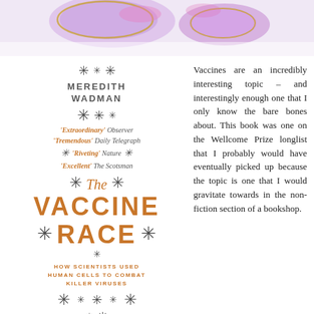[Figure (illustration): Top decorative strip showing colorful virus/cell illustrations in purple, pink, and gold tones on a light lavender background]
[Figure (illustration): Book cover for 'The Vaccine Race' by Meredith Wadman, featuring decorative snowflake/asterisk motifs in grey, author name in grey uppercase, praise quotes in orange italic, title in large orange text, subtitle 'HOW SCIENTISTS USED HUMAN CELLS TO COMBAT KILLER VIRUSES' in small orange caps. Rating – 3* shown at bottom.]
Vaccines are an incredibly interesting topic – and interestingly enough one that I only know the bare bones about. This book was one on the Wellcome Prize longlist that I probably would have eventually picked up because the topic is one that I would gravitate towards in the non-fiction section of a bookshop.